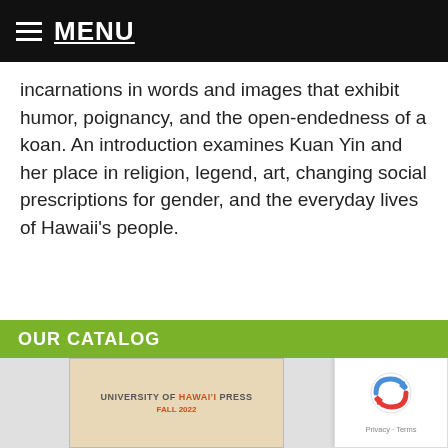MENU
incarnations in words and images that exhibit humor, poignancy, and the open-endedness of a koan. An introduction examines Kuan Yin and her place in religion, legend, art, changing social prescriptions for gender, and the everyday lives of Hawaii's people.
OUR CATALOG
[Figure (photo): University of Hawai'i Press Fall 2022 catalog cover showing a book cover image on a gray background]
[Figure (logo): reCAPTCHA logo with Privacy and Terms text]